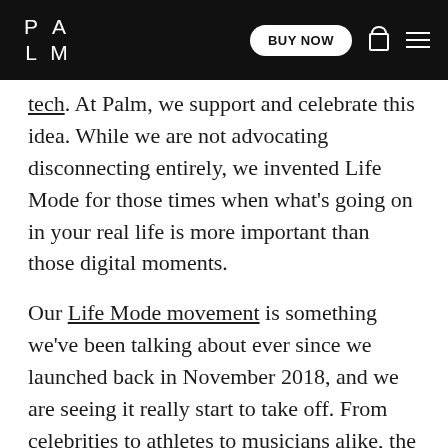PALM — BUY NOW
tech. At Palm, we support and celebrate this idea. While we are not advocating disconnecting entirely, we invented Life Mode for those times when what's going on in your real life is more important than those digital moments.
Our Life Mode movement is something we've been talking about ever since we launched back in November 2018, and we are seeing it really start to take off. From celebrities to athletes to musicians alike, the concept of putting your tech down and focusing on what's in front of you is gaining traction. Just listen to Stephen Curry in his latest post on Instagram:
Obviously Stephen is on track for a Warrior's